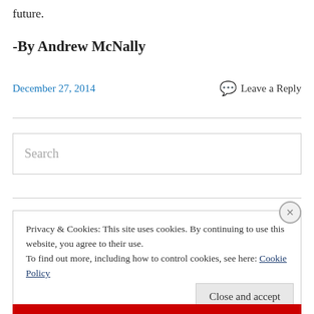future.
-By Andrew McNally
December 27, 2014
Leave a Reply
Search
Privacy & Cookies: This site uses cookies. By continuing to use this website, you agree to their use.
To find out more, including how to control cookies, see here: Cookie Policy
Close and accept